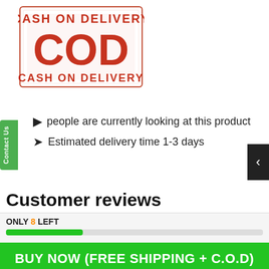[Figure (illustration): Cash on Delivery stamp logo with red distressed lettering 'CASH ON DELIVERY' at top and bottom, large 'COD' letters in center, stamped look on white background]
Contact Us
people are currently looking at this product
Estimated delivery time 1-3 days
Customer reviews
ONLY 8 LEFT
BUY NOW (FREE SHIPPING + C.O.D)